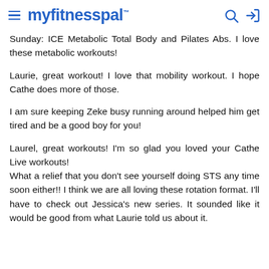myfitnesspal
Sunday: ICE Metabolic Total Body and Pilates Abs. I love these metabolic workouts!
Laurie, great workout! I love that mobility workout. I hope Cathe does more of those.
I am sure keeping Zeke busy running around helped him get tired and be a good boy for you!
Laurel, great workouts! I'm so glad you loved your Cathe Live workouts!
What a relief that you don't see yourself doing STS any time soon either!! I think we are all loving these rotation format. I'll have to check out Jessica's new series. It sounded like it would be good from what Laurie told us about it.